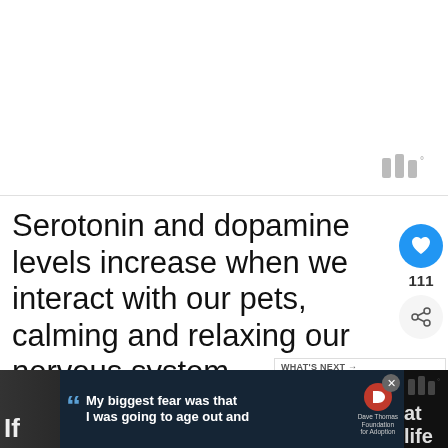[Figure (photo): White/blank image placeholder area at top of page with a watermark logo (three vertical bars with a degree symbol) in the bottom-right corner]
Serotonin and dopamine levels increase when we interact with our pets, calming and relaxing our nervous system. Laughing and smiling at our pet's adorable behavior can help release these happy hormones
[Figure (infographic): Social media UI overlay: blue heart/like button with count 111, and a share icon button]
[Figure (infographic): WHAT'S NEXT widget showing: 'Reasons Why Becoming A...' with a thumbnail of a person]
[Figure (infographic): Bottom advertisement banner: 'My biggest fear was that I was going to age out and' with Dave Thomas Foundation for Adoption logo, on dark background. Partial text visible: 'If' and 'at life']